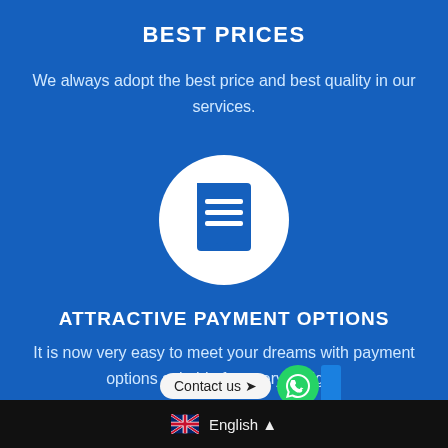BEST PRICES
We always adopt the best price and best quality in our services.
[Figure (illustration): White circle with a blue receipt/invoice icon in the center on a blue background]
ATTRACTIVE PAYMENT OPTIONS
It is now very easy to meet your dreams with payment options suitable for every budget.
Contact us
English